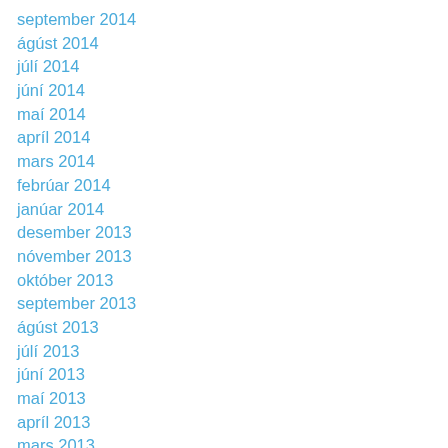september 2014
ágúst 2014
júlí 2014
júní 2014
maí 2014
apríl 2014
mars 2014
febrúar 2014
janúar 2014
desember 2013
nóvember 2013
október 2013
september 2013
ágúst 2013
júlí 2013
júní 2013
maí 2013
apríl 2013
mars 2013
febrúar 2013